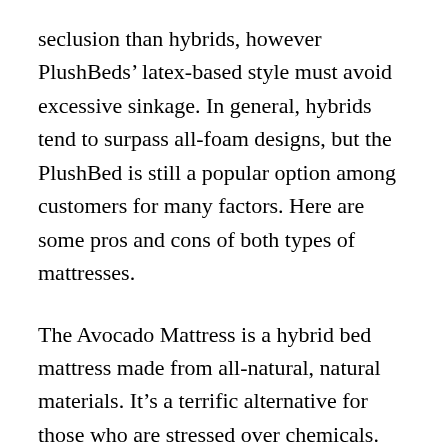seclusion than hybrids, however PlushBeds' latex-based style must avoid excessive sinkage. In general, hybrids tend to surpass all-foam designs, but the PlushBed is still a popular option among customers for many factors. Here are some pros and cons of both types of mattresses.
The Avocado Mattress is a hybrid bed mattress made from all-natural, natural materials. It's a terrific alternative for those who are stressed over chemicals. This mattress is likewise certified vegan. Organic materials are a good thing, and it does not